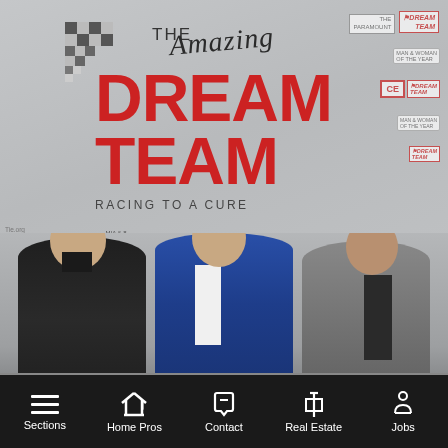[Figure (photo): Three men in formal attire standing in front of 'The Amazing Dream Team - Racing to a Cure' event backdrop with sponsor logos. The man on the left wears a dark suit, the center man wears a blue suit with white shirt, and the man on the right wears a grey checked blazer with dark shirt.]
Sections | Home Pros | Contact | Real Estate | Jobs